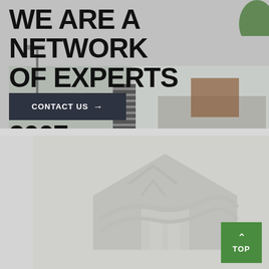[Figure (photo): Hero banner showing a residential building exterior with plants, wooden shutters, and a light pole. Large bold text overlaid: WE ARE A NETWORK OF EXPERTS SINCE 2007. A dark navy 'CONTACT US →' button sits below the text.]
WE ARE A NETWORK OF EXPERTS SINCE 2007
CONTACT US →
[Figure (photo): Faded/watermarked architectural or handshake image on a light grey background, partially visible in the lower section of the page.]
TOP